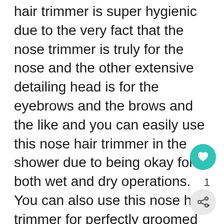hair trimmer is super hygienic due to the very fact that the nose trimmer is truly for the nose and the other extensive detailing head is for the eyebrows and the brows and the like and you can easily use this nose hair trimmer in the shower due to being okay for both wet and dry operations. You can also use this nose hair trimmer for perfectly groomed eyebrows on the go and there is also an included eyebrow guide on this nose hair trimmer for convenience in eyebrow trimming. You can also easily clean up this nose hair trimmer under standard running water